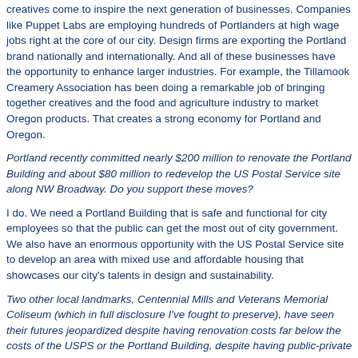creatives come to inspire the next generation of businesses. Companies like Puppet Labs are employing hundreds of Portlanders at high wage jobs right at the core of our city. Design firms are exporting the Portland brand nationally and internationally. And all of these businesses have the opportunity to enhance larger industries. For example, the Tillamook Creamery Association has been doing a remarkable job of bringing together creatives and the food and agriculture industry to market Oregon products. That creates a strong economy for Portland and Oregon.
Portland recently committed nearly $200 million to renovate the Portland Building and about $80 million to redevelop the US Postal Service site along NW Broadway. Do you support these moves?
I do. We need a Portland Building that is safe and functional for city employees so that the public can get the most out of city government. We also have an enormous opportunity with the US Postal Service site to develop an area with mixed use and affordable housing that showcases our city's talents in design and sustainability.
Two other local landmarks, Centennial Mills and Veterans Memorial Coliseum (which in full disclosure I've fought to preserve), have seen their futures jeopardized despite having renovation costs far below the costs of the USPS or the Portland Building, despite having public-private partnerships on the table worth tens of millions available for investing in these city assets, and despite